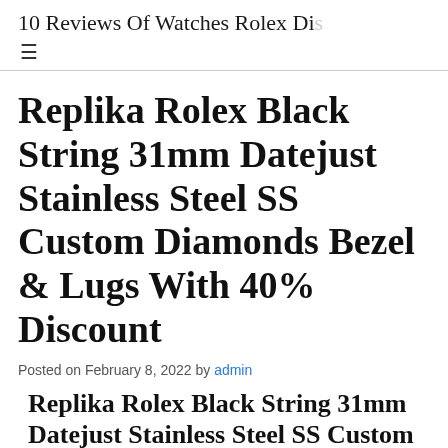10 Reviews Of Watches Rolex Di…
Replika Rolex Black String 31mm Datejust Stainless Steel SS Custom Diamonds Bezel & Lugs With 40% Discount
Posted on February 8, 2022 by admin
Replika Rolex Black String 31mm Datejust Stainless Steel SS Custom